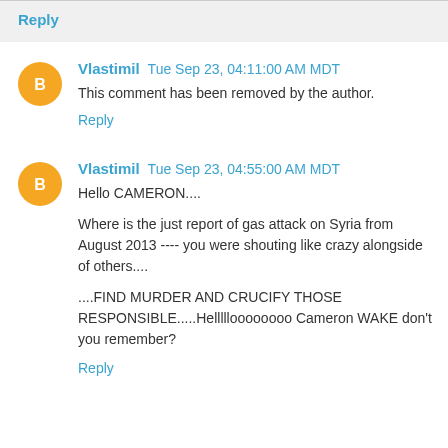Reply
Vlastimil  Tue Sep 23, 04:11:00 AM MDT
This comment has been removed by the author.
Reply
Vlastimil  Tue Sep 23, 04:55:00 AM MDT
Hello CAMERON....
Where is the just report of gas attack on Syria from August 2013 ---- you were shouting like crazy alongside of others....
....FIND MURDER AND CRUCIFY THOSE RESPONSIBLE.....Hellllloooooooo Cameron WAKE don't you remember?
Reply